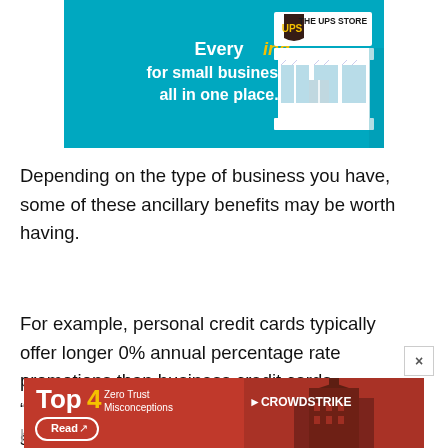[Figure (illustration): The UPS Store advertisement banner with teal background. Text reads 'Every ing for small business, all in one place.' with UPS Store logo and storefront illustration.]
Depending on the type of business you have, some of these ancillary benefits may be worth having.
For example, personal credit cards typically offer longer 0% annual percentage rate promotions than business credit cards. “This is a cash flow gift,” says Jones. But she notes that you’ll want to do your research to make sure the personal card’s
[Figure (illustration): CrowdStrike advertisement overlay at the bottom. Shows 'Top4 Zero Trust Misconceptions' in bold with a Read button, CrowdStrike logo, and Capitol building image on red background.]